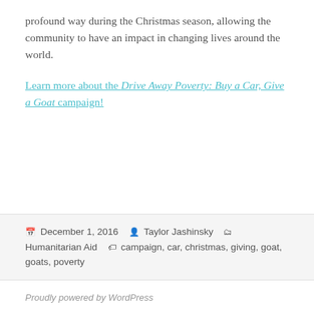profound way during the Christmas season, allowing the community to have an impact in changing lives around the world.
Learn more about the Drive Away Poverty: Buy a Car, Give a Goat campaign!
December 1, 2016  Taylor Jashinsky  Humanitarian Aid  campaign, car, christmas, giving, goat, goats, poverty
Proudly powered by WordPress